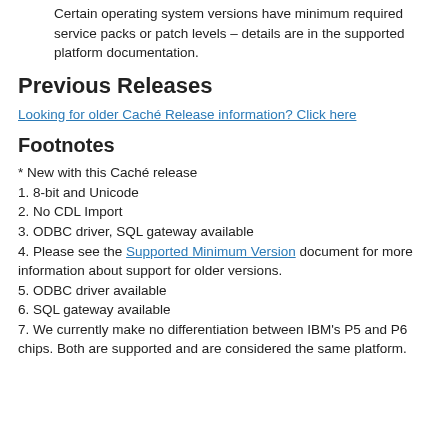Certain operating system versions have minimum required service packs or patch levels – details are in the supported platform documentation.
Previous Releases
Looking for older Caché Release information? Click here
Footnotes
* New with this Caché release
1. 8-bit and Unicode
2. No CDL Import
3. ODBC driver, SQL gateway available
4. Please see the Supported Minimum Version document for more information about support for older versions.
5. ODBC driver available
6. SQL gateway available
7. We currently make no differentiation between IBM's P5 and P6 chips. Both are supported and are considered the same platform.